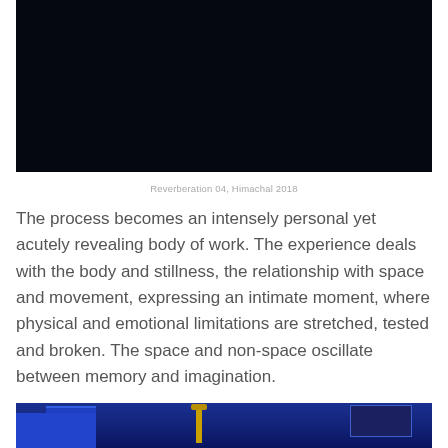[Figure (photo): Dark near-black photograph, likely a nighttime or very low-light scene. Himachal 2018.]
Reverberation 04, Himachal 2018
The process becomes an intensely personal yet acutely revealing body of work. The experience deals with the body and stillness, the relationship with space and movement, expressing an intimate moment, where physical and emotional limitations are stretched, tested and broken. The space and non-space oscillate between memory and imagination.
[Figure (photo): Partial photograph showing blue structures and a golden pagoda-like spire at night, cropped at bottom of page.]